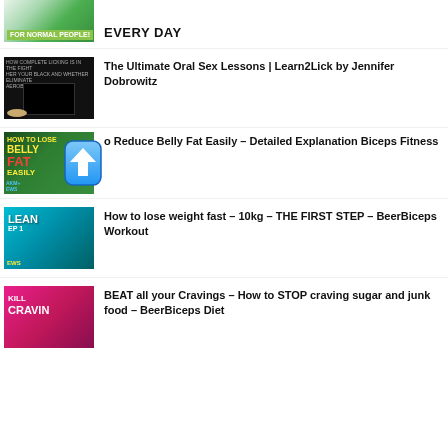EVERY DAY
The Ultimate Oral Sex Lessons | Learn2Lick by Jennifer Dobrowitz
o Reduce Belly Fat Easily – Detailed Explanation Biceps Fitness
How to lose weight fast – 10kg – THE FIRST STEP – BeerBiceps Workout
BEAT all your Cravings – How to STOP craving sugar and junk food – BeerBiceps Diet